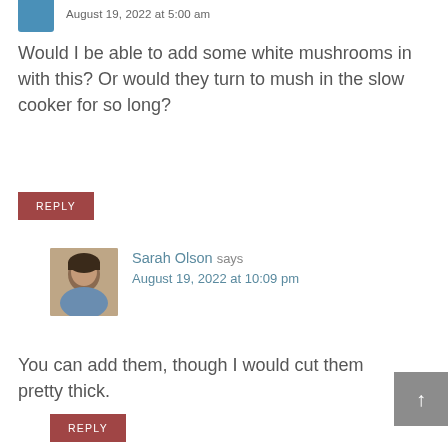August 19, 2022 at 5:00 am
Would I be able to add some white mushrooms in with this? Or would they turn to mush in the slow cooker for so long?
REPLY
Sarah Olson says August 19, 2022 at 10:09 pm
You can add them, though I would cut them pretty thick.
REPLY